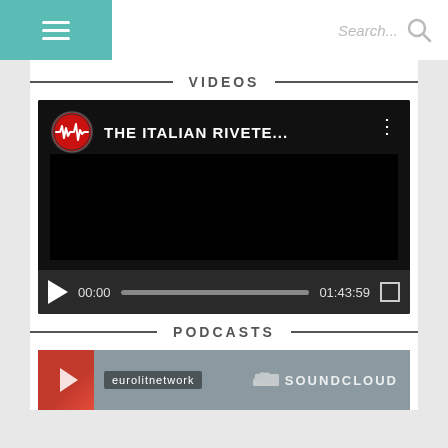Navigation menu and search bar
VIDEOS
[Figure (screenshot): YouTube video player showing 'THE ITALIAN RIVETE...' with channel logo, black video area, play button, timestamp 00:00 / 01:43:59, progress bar, and fullscreen button]
PODCASTS
[Figure (screenshot): SoundCloud podcast player showing eurolitnetwork label and SOUNDCLOUD branding with a red circular icon]